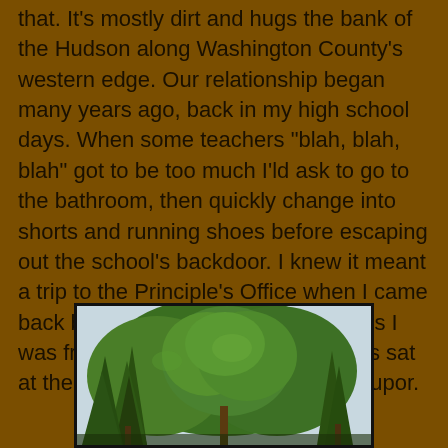that. It's mostly dirt and hugs the bank of the Hudson along Washington County's western edge. Our relationship began many years ago, back in my high school days. When some teachers "blah, blah, blah" got to be too much I'ld ask to go to the bathroom, then quickly change into shorts and running shoes before escaping out the school's backdoor. I knew it meant a trip to the Principle's Office when I came back but I didn't care. For a few hours I was free while the rest of the suckers sat at their desks in a lecture-induced stupor.
[Figure (photo): Photograph of trees (tall conifers and leafy trees) against a light overcast sky, partially visible at the bottom of the page.]